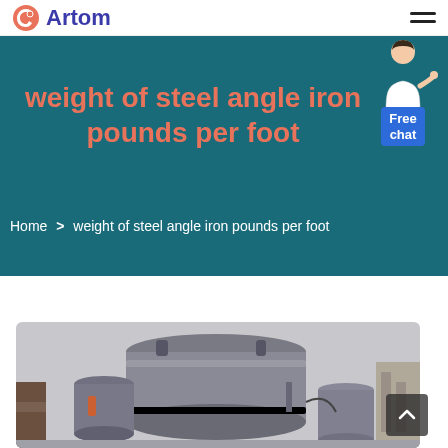Artom
weight of steel angle iron pounds per foot
Home > weight of steel angle iron pounds per foot
[Figure (photo): Industrial machinery — large cylindrical metallic processing equipment with pipes and fittings in a factory setting]
[Figure (illustration): Free chat customer service avatar — person in white shirt gesturing, with blue Free chat button]